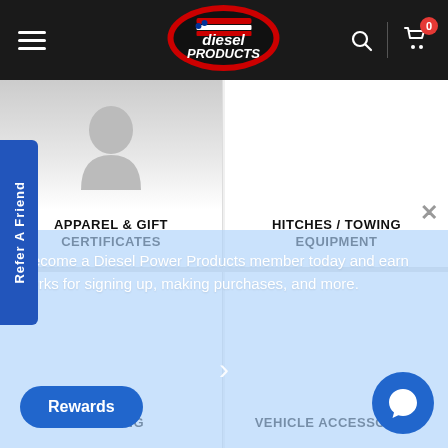[Figure (screenshot): Diesel Power Products website header with hamburger menu, logo, search icon, and cart icon with 0 badge]
APPAREL & GIFT CERTIFICATES
HITCHES / TOWING EQUIPMENT
Refer A Friend
Become a Diesel Power Products member today and earn perks for signing up, making purchases, and more.
LIGHTING
VEHICLE ACCESSORIES
Rewards